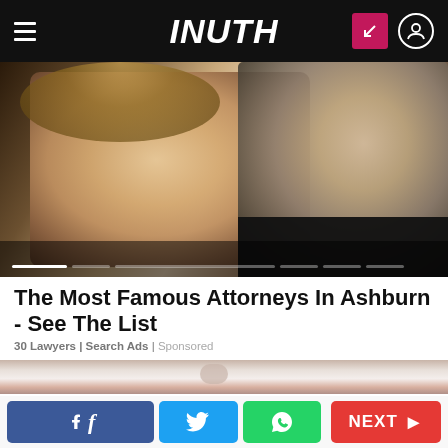INUTH
[Figure (photo): Two people: a blonde woman facing forward and a man in dark clothing beside her, appearing to be celebrities photographed at an event]
The Most Famous Attorneys In Ashburn - See The List
30 Lawyers | Search Ads | Sponsored
[Figure (photo): Close-up blurred image, appears to show a pill or medication on a white surface]